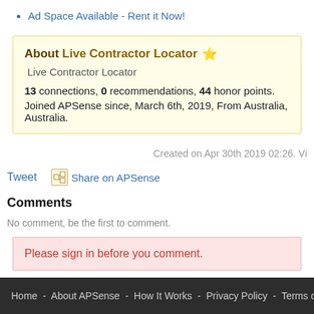Ad Space Available - Rent it Now!
About Live Contractor Locator ⭐ Live Contractor Locator
13 connections, 0 recommendations, 44 honor points. Joined APSense since, March 6th, 2019, From Australia, Australia.
Created on Apr 30th 2019 02:26. Vi
Tweet   Share on APSense
Comments
No comment, be the first to comment.
Please sign in before you comment.
Home - About APSense - How It Works - Privacy Policy - Terms of Use - Contact Us